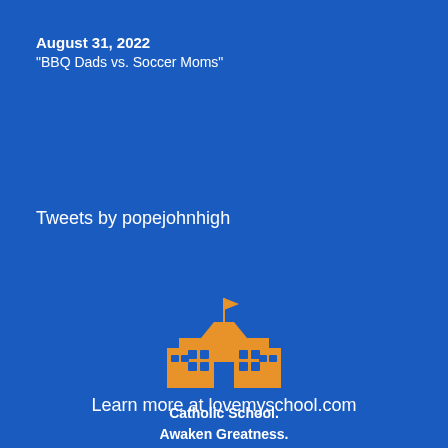August 31, 2022
"BBQ Dads vs. Soccer Moms"
Tweets by popejohnhigh
[Figure (logo): Orange school building icon with flag on top and windows, with text 'Catholic School. Awaken Greatness.' below]
Learn more at lovemyschool.com